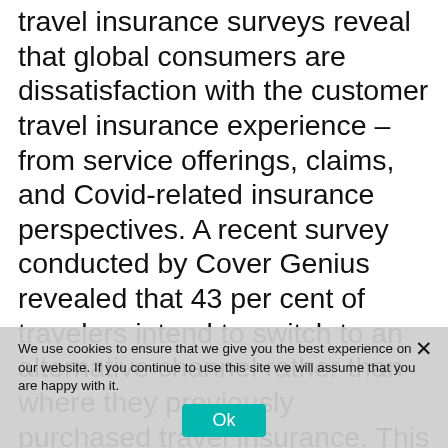travel insurance surveys reveal that global consumers are dissatisfaction with the customer travel insurance experience – from service offerings, claims, and Covid-related insurance perspectives. A recent survey conducted by Cover Genius revealed that 43 per cent of travelers intend to switch to an alternative channel rather than where they previously purchased travel insurance. This indicates a disparity between the traditional insurance provider's offering and the customer's needs. While the census-balanced survey of over 15,000 global consumers spotlighted pandemic-related claims, it's clear to see that traditional one-size-fits-all insurance misses the mark on the new types of scenarios travelers need coverage on. This calls for solutions that
We use cookies to ensure that we give you the best experience on our website. If you continue to use this site we will assume that you are happy with it.